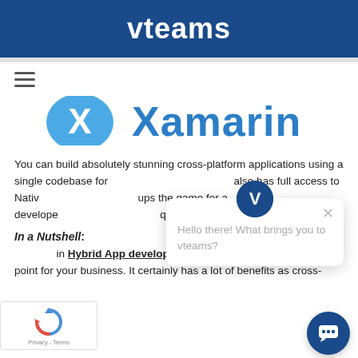vteams
[Figure (logo): Xamarin logo partial — large X icon and 'Xamarin' text in blue, cropped at top]
You can build absolutely stunning cross-platform applications using a single codebase for also has full access to Nativ ups the game for a develope quite trustworthy as technic
In a Nutshell:
in Hybrid App development can be a vital point for your business. It certainly has a lot of benefits as cross-